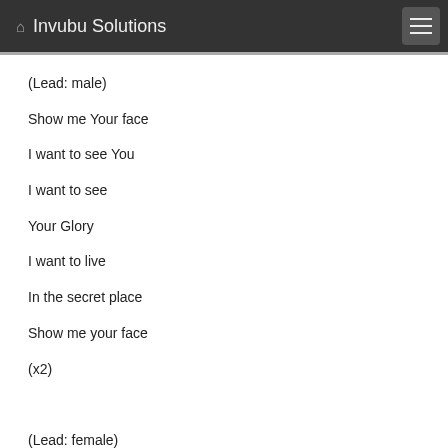Invubu Solutions
(Lead: male)
Show me Your face
I want to see You
I want to see
Your Glory
I want to live
In the secret place
Show me your face
(x2)

(Lead: female)
I'm not satisfied
With where I've been
Though I've cried out before
Still I want more
I want to see your power
This very hour
So do it in me